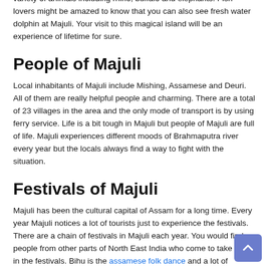variety of animals including rhino, buffalo and elephants. Fish lovers might be amazed to know that you can also see fresh water dolphin at Majuli. Your visit to this magical island will be an experience of lifetime for sure.
People of Majuli
Local inhabitants of Majuli include Mishing, Assamese and Deuri. All of them are really helpful people and charming. There are a total of 23 villages in the area and the only mode of transport is by using ferry service. Life is a bit tough in Majuli but people of Majuli are full of life. Majuli experiences different moods of Brahmaputra river every year but the locals always find a way to fight with the situation.
Festivals of Majuli
Majuli has been the cultural capital of Assam for a long time. Every year Majuli notices a lot of tourists just to experience the festivals. There are a chain of festivals in Majuli each year. You would find people from other parts of North East India who come to take part in the festivals. Bihu is the assamese folk dance and a lot of tourists visit Majuli ... Bihu during the festivals. As a matter of fact